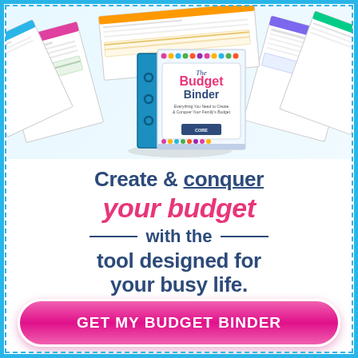[Figure (illustration): Colorful Budget Binder product image showing a blue 3-ring binder with colorful worksheets and budget planning pages fanned out around it. The binder is labeled 'The Budget Binder - Everything You Need to Create & Conquer Your Family's Budget'.]
Create & conquer your budget with the tool designed for your busy life.
GET MY BUDGET BINDER